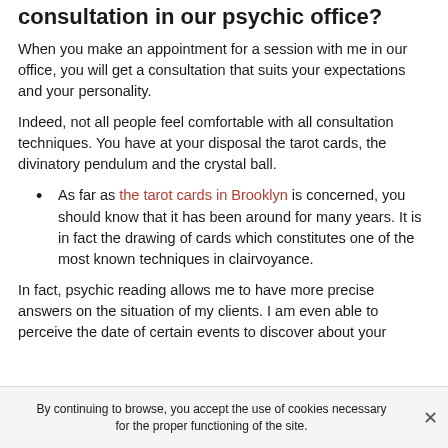consultation in our psychic office?
When you make an appointment for a session with me in our office, you will get a consultation that suits your expectations and your personality.
Indeed, not all people feel comfortable with all consultation techniques. You have at your disposal the tarot cards, the divinatory pendulum and the crystal ball.
As far as the tarot cards in Brooklyn is concerned, you should know that it has been around for many years. It is in fact the drawing of cards which constitutes one of the most known techniques in clairvoyance.
In fact, psychic reading allows me to have more precise answers on the situation of my clients. I am even able to perceive the date of certain events to discover about your
By continuing to browse, you accept the use of cookies necessary for the proper functioning of the site.